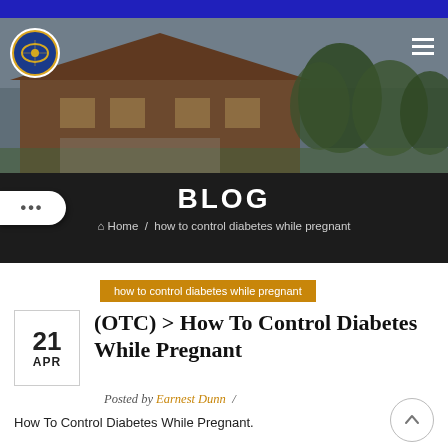[Figure (photo): Header photo of a brick building with trees in background, overlaid with a circular logo badge and hamburger menu icon]
BLOG
Home / how to control diabetes while pregnant
how to control diabetes while pregnant
(OTC) > How To Control Diabetes While Pregnant
Posted by Earnest Dunn /
How To Control Diabetes While Pregnant.